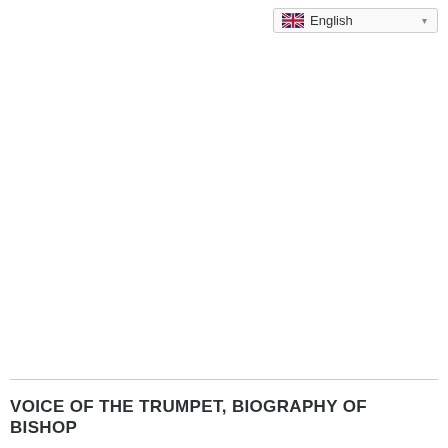English
VOICE OF THE TRUMPET, BIOGRAPHY OF BISHOP